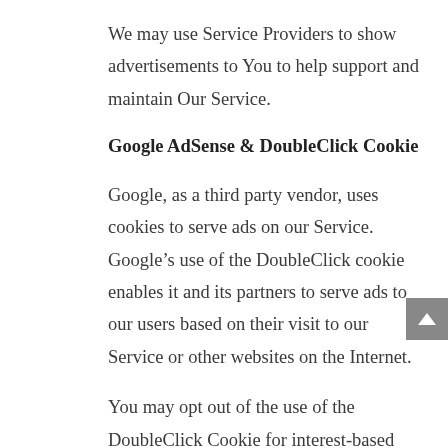We may use Service Providers to show advertisements to You to help support and maintain Our Service.
Google AdSense & DoubleClick Cookie
Google, as a third party vendor, uses cookies to serve ads on our Service. Google’s use of the DoubleClick cookie enables it and its partners to serve ads to our users based on their visit to our Service or other websites on the Internet.
You may opt out of the use of the DoubleClick Cookie for interest-based advertising by visiting...